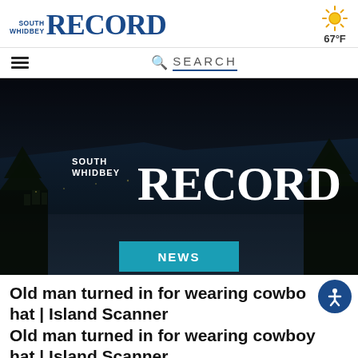South Whidbey Record — 67°F
[Figure (screenshot): South Whidbey Record website header with logo on left and sunny weather icon showing 67°F on right]
[Figure (photo): Aerial night/dusk photo of South Whidbey island town with South Whidbey Record logo overlaid in white text, and a teal NEWS badge at the bottom center]
Old man turned in for wearing cowboy hat | Island Scanner